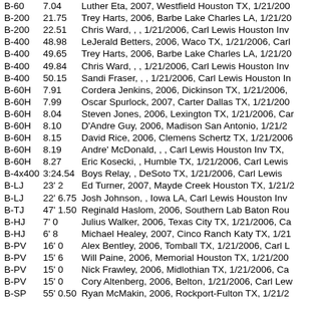| Event | Mark | Athlete/Details |
| --- | --- | --- |
| B-60 | 7.04 | Luther Eta, 2007, Westfield Houston TX, 1/21/200 |
| B-200 | 21.75 | Trey Harts, 2006, Barbe Lake Charles LA, 1/21/20 |
| B-200 | 22.51 | Chris Ward, , , 1/21/2006, Carl Lewis Houston Inv |
| B-400 | 48.98 | LeJerald Betters, 2006, Waco TX, 1/21/2006, Carl |
| B-400 | 49.65 | Trey Harts, 2006, Barbe Lake Charles LA, 1/21/20 |
| B-400 | 49.84 | Chris Ward, , , 1/21/2006, Carl Lewis Houston Inv |
| B-400 | 50.15 | Sandi Fraser, , , 1/21/2006, Carl Lewis Houston In |
| B-60H | 7.91 | Cordera Jenkins, 2006, Dickinson TX, 1/21/2006, |
| B-60H | 7.99 | Oscar Spurlock, 2007, Carter Dallas TX, 1/21/200 |
| B-60H | 8.04 | Steven Jones, 2006, Lexington TX, 1/21/2006, Ca |
| B-60H | 8.10 | D'Andre Guy, 2006, Madison San Antonio, 1/21/2 |
| B-60H | 8.15 | David Rice, 2006, Clemens Schertz TX, 1/21/2006 |
| B-60H | 8.19 | Andre' McDonald, , , Carl Lewis Houston Inv TX, |
| B-60H | 8.27 | Eric Kosecki, , Humble TX, 1/21/2006, Carl Lewis |
| B-4x400 | 3:24.54 | Boys Relay, , DeSoto TX, 1/21/2006, Carl Lewis |
| B-LJ | 23' 2 | Ed Turner, 2007, Mayde Creek Houston TX, 1/21/2 |
| B-LJ | 22' 6.75 | Josh Johnson, , Iowa LA, Carl Lewis Houston Inv |
| B-TJ | 47' 1.50 | Reginald Haslom, 2006, Southern Lab Baton Rou |
| B-HJ | 7' 0 | Julius Walker, 2006, Texas City TX, 1/21/2006, Ca |
| B-HJ | 6' 8 | Michael Healey, 2007, Cinco Ranch Katy TX, 1/21 |
| B-PV | 16' 0 | Alex Bentley, 2006, Tomball TX, 1/21/2006, Carl L |
| B-PV | 15' 6 | Will Paine, 2006, Memorial Houston TX, 1/21/200 |
| B-PV | 15' 0 | Nick Frawley, 2006, Midlothian TX, 1/21/2006, Ca |
| B-PV | 15' 0 | Cory Altenberg, 2006, Belton, 1/21/2006, Carl Lew |
| B-SP | 55' 0.50 | Ryan McMakin, 2006, Rockport-Fulton TX, 1/21/2 |